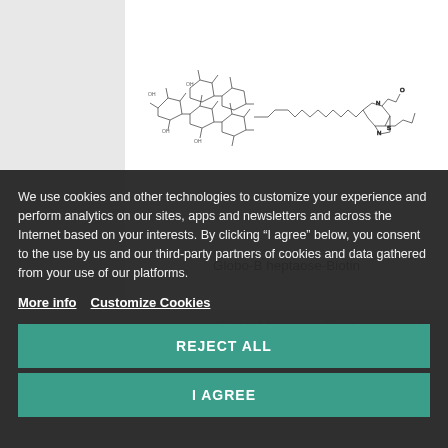[Figure (schematic): Chemical structure diagram of Globo-B heptaose-Biotin molecule shown as a skeletal/line-bond structure on a white background]
Globo-B heptaose-Biotin
We use cookies and other technologies to customize your experience and perform analytics on our sites, apps and newsletters and across the Internet based on your interests. By clicking “I agree” below, you consent to the use by us and our third-party partners of cookies and data gathered from your use of our platforms.
More info   Customize Cookies
Globo-A heptaose-Biotin
REJECT ALL
I AGREE